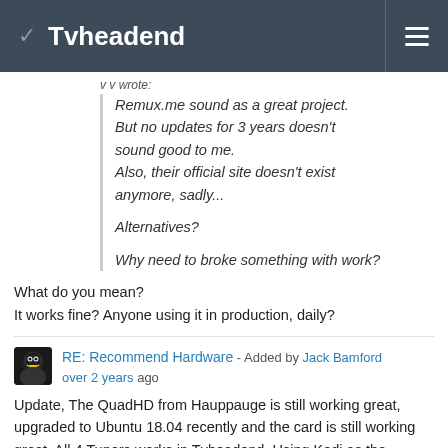Tvheadend
v v wrote:
Remux.me sound as a great project. But no updates for 3 years doesn't sound good to me. Also, their official site doesn't exist anymore, sadly...

Alternatives?
Why need to broke something with work?
What do you mean?
It works fine? Anyone using it in production, daily?
RE: Recommend Hardware - Added by Jack Bamford over 2 years ago
Update, The QuadHD from Hauppauge is still working great, upgraded to Ubuntu 18.04 recently and the card is still working great, All 4 Tuners works in Tvheadend. Using Kodi as the frontend on Pi 4 and 3, EPG Guide works as it should.